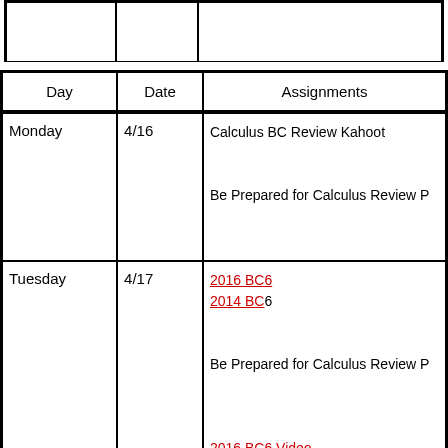| Day | Date | Assignments |
| --- | --- | --- |
| Monday | 4/16 | Calculus BC Review Kahoot

Be Prepared for Calculus Review P |
| Tuesday | 4/17 | 2016 BC6
2014 BC6

Be Prepared for Calculus Review P

2016 BC6 Video |